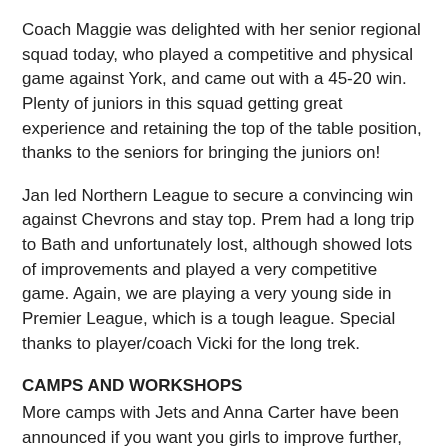Coach Maggie was delighted with her senior regional squad today, who played a competitive and physical game against York, and came out with a 45-20 win. Plenty of juniors in this squad getting great experience and retaining the top of the table position, thanks to the seniors for bringing the juniors on!
Jan led Northern League to secure a convincing win against Chevrons and stay top. Prem had a long trip to Bath and unfortunately lost, although showed lots of improvements and played a very competitive game. Again, we are playing a very young side in Premier League, which is a tough league. Special thanks to player/coach Vicki for the long trek.
CAMPS AND WORKSHOPS
More camps with Jets and Anna Carter have been announced if you want you girls to improve further, follow this link, booking is easy! http://www.elite-netball.co.uk Watch out for an exciting residential camp being announced soon, to run in August. Lots of the girls will love it.